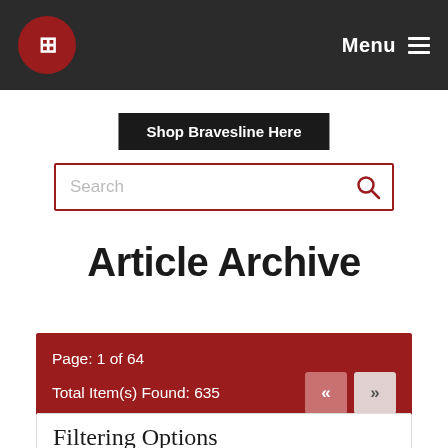Menu
Shop Bravesline Here
Search
Article Archive
Page: 1 of 64
Total Item(s) Found: 635
Filtering Options